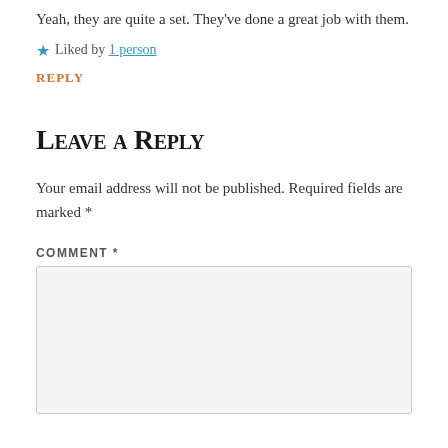Yeah, they are quite a set. They’ve done a great job with them.
★ Liked by 1 person
REPLY
Leave a Reply
Your email address will not be published. Required fields are marked *
COMMENT *